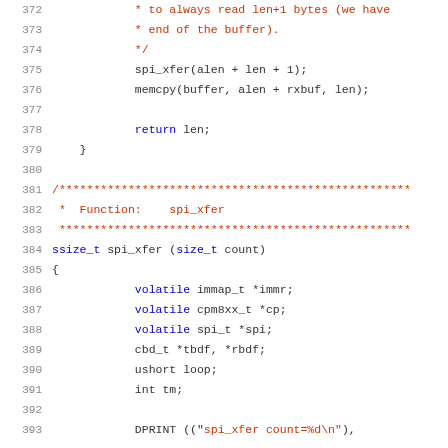372-392: Source code listing showing C code with function spi_xfer and variable declarations including volatile immap_t *immr, volatile cpm8xx_t *cp, volatile spi_t *spi, cbd_t *tbdf *rbdf, ushort loop, int tm.